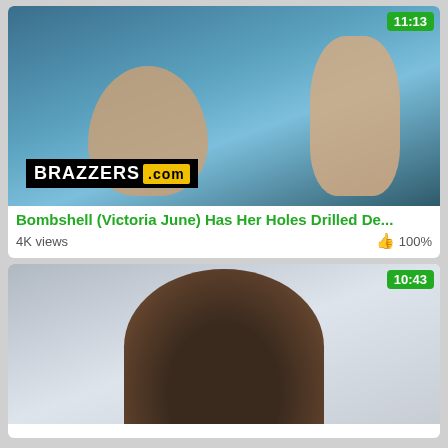[Figure (screenshot): Video thumbnail showing adult content from Brazzers.com with duration badge 11:13 in green]
Bombshell (Victoria June) Has Her Holes Drilled De...
4K views   👍 100%
[Figure (screenshot): Video thumbnail showing adult content, woman with dark hair, duration badge 10:43 in green]